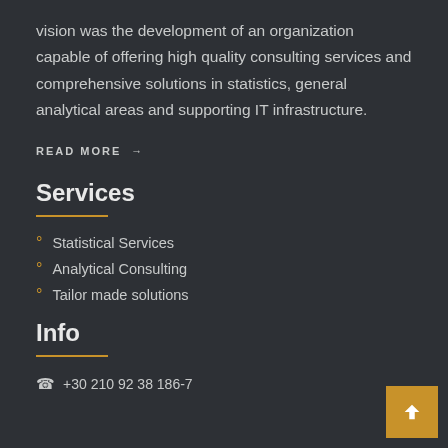vision was the development of an organization capable of offering high quality consulting services and comprehensive solutions in statistics, general analytical areas and supporting IT infrastructure.
READ MORE →
Services
Statistical Services
Analytical Consulting
Tailor made solutions
Info
+30 210 92 38 186-7